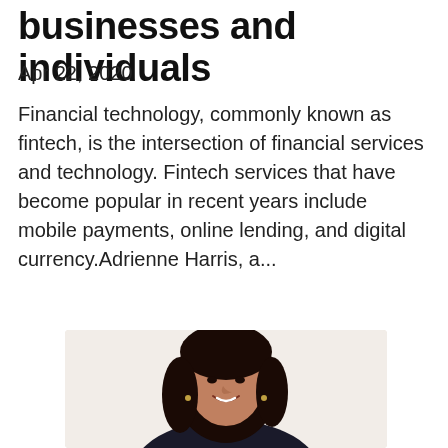businesses and individuals
Apr 22, 2020
Financial technology, commonly known as fintech, is the intersection of financial services and technology. Fintech services that have become popular in recent years include mobile payments, online lending, and digital currency.Adrienne Harris, a...
[Figure (photo): Professional headshot of Adrienne Harris, a woman with dark shoulder-length wavy hair, smiling, wearing dark clothing, against a light background.]